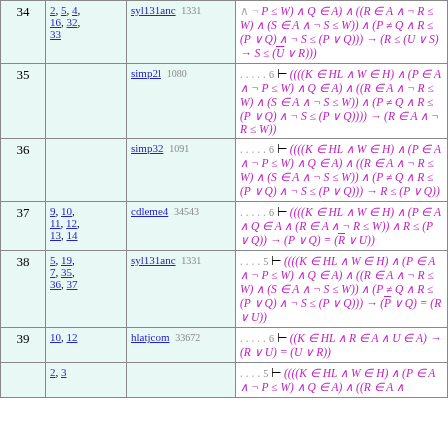| # | Refs | Rule | Formula |
| --- | --- | --- | --- |
| 34 | 2, 5, 4, 16, 32, 33 | syl131anc 1331 | (∧ ¬ P ≤ W) ∧ Q ∈ A) ∧ ((R ∈ A ∧ ¬ R ≤ W) ∧ (S ∈ A ∧ ¬ S ≤ W)) ∧ (P ≠ Q ∧ R ≤ (P ∨ Q) ∧ ¬ S ≤ (P ∨ Q))) → (R ≤ (U ∨ S) → S ≤ (U ∨ R))) |
| 35 |  | simp2l 1080 | .....6 ⊢ ((((K ∈ HL ∧ W ∈ H) ∧ (P ∈ A ∧ ¬ P ≤ W) ∧ Q ∈ A) ∧ ((R ∈ A ∧ ¬ R ≤ W) ∧ (S ∈ A ∧ ¬ S ≤ W)) ∧ (P ≠ Q ∧ R ≤ (P ∨ Q) ∧ ¬ S ≤ (P ∨ Q)))) → (R ∈ A ∧ ¬ R ≤ W)) |
| 36 |  | simp32 1091 | .....6 ⊢ ((((K ∈ HL ∧ W ∈ H) ∧ (P ∈ A ∧ ¬ P ≤ W) ∧ Q ∈ A) ∧ ((R ∈ A ∧ ¬ R ≤ W) ∧ (S ∈ A ∧ ¬ S ≤ W)) ∧ (P ≠ Q ∧ R ≤ (P ∨ Q) ∧ ¬ S ≤ (P ∨ Q)))) → R ≤ (P ∨ Q)) |
| 37 | 9, 10, 11, 12, 13, 14 | cdleme4 34543 | .....6 ⊢ ((((K ∈ HL ∧ W ∈ H) ∧ (P ∈ A ∧ Q ∈ A ∧ (R ∈ A ∧ ¬ R ≤ W)) ∧ R ≤ (P ∨ Q)) → (P ∨ Q) = (R̄ ∨ U)) |
| 38 | 5, 19, 7, 35, 36, 37 | syl131anc 1331 | ....5 ⊢ ((((K ∈ HL ∧ W ∈ H) ∧ (P ∈ A ∧ ¬ P ≤ W) ∧ Q ∈ A) ∧ ((R ∈ A ∧ ¬ R ≤ W) ∧ (S ∈ A ∧ ¬ S ≤ W)) ∧ (P ≠ Q ∧ R ≤ (P ∨ Q) ∧ ¬ S ≤ (P ∨ Q)))) → (P̄ ∨ Q) = (R ∨ U)) |
| 39 | 10, 12 | hlatjcom 33672 | .....6 ⊢ ((K ∈ HL ∧ R ∈ A ∧ U ∈ A) → (R ∨ U) = (U ∨ R)) |
| 40 | 2, 3 |  | ....5 ⊢ ((((K ∈ HL ∧ W ∈ H) ∧ (P ∈ A ∧ ¬ P ≤ W) ∧ Q ∈ A) ∧ ((R ∈ A ... |